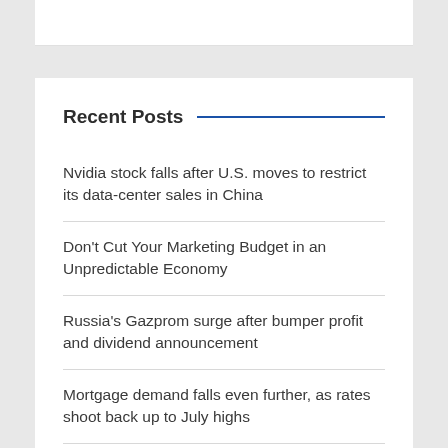Recent Posts
Nvidia stock falls after U.S. moves to restrict its data-center sales in China
Don't Cut Your Marketing Budget in an Unpredictable Economy
Russia's Gazprom surge after bumper profit and dividend announcement
Mortgage demand falls even further, as rates shoot back up to July highs